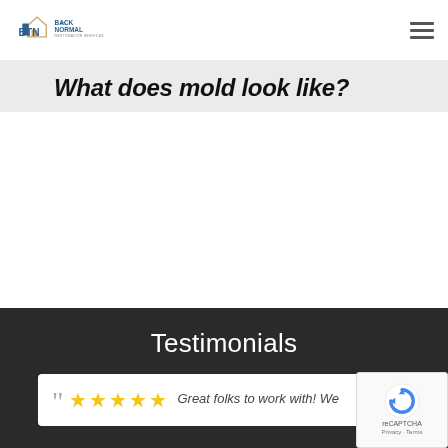Back To Normal Restoration Services — navigation bar with logo and hamburger menu
What does mold look like?
Testimonials
Great folks to work with! We